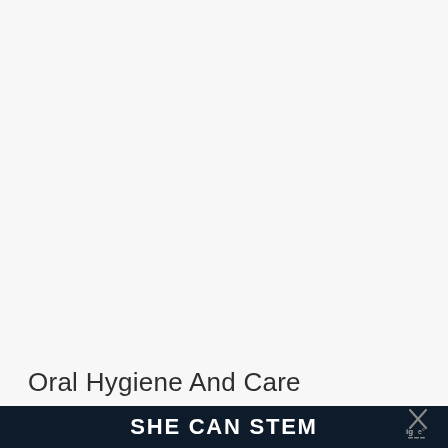[Figure (illustration): Large white/off-white blank upper area of the page, likely a placeholder for an image related to oral hygiene and care]
Oral Hygiene And Care
SHE CAN STEM